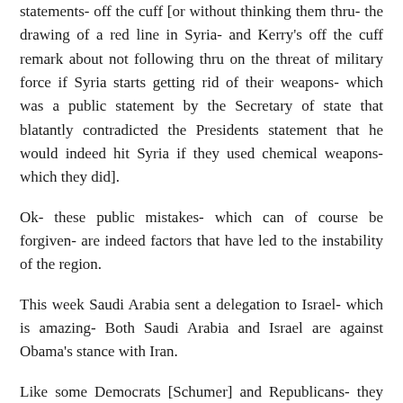statements- off the cuff [or without thinking them thru- the drawing of a red line in Syria- and Kerry's off the cuff remark about not following thru on the threat of military force if Syria starts getting rid of their weapons- which was a public statement by the Secretary of state that blatantly contradicted the Presidents statement that he would indeed hit Syria if they used chemical weapons- which they did].
Ok- these public mistakes- which can of course be forgiven- are indeed factors that have led to the instability of the region.
This week Saudi Arabia sent a delegation to Israel- which is amazing- Both Saudi Arabia and Israel are against Obama's stance with Iran.
Like some Democrats [Schumer] and Republicans- they feel the 6 month backing off of sanctions on Iran- while they continue to develop Enriched Uranium- was a very bad deal.
The surprise is that Saudi Arabia would have talks with Israel- it is likely that Israel will hit Iran regardless of what the U.S. does- if they deem the threat of an actual Nuclear rocket to be close.